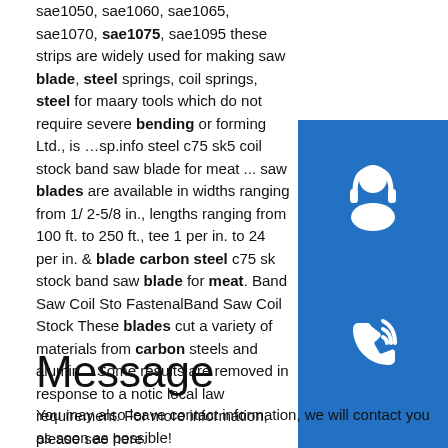sae1050, sae1060, sae1065, sae1070, sae1075, sae1095 these strips are widely used for making saw blade, steel springs, coil springs, steel for maary tools which do not require severe bending or forming Ltd., is …sp.info steel c75 sk5 coil stock band saw blade for meat ... saw blades are available in widths ranging from 1/ 2-5/8 in., lengths ranging from 100 ft. to 250 ft., tee 1 per in. to 24 per in. & blade carbon steel c75 sk stock band saw blade for meat. Band Saw Coil Sto FastenalBand Saw Coil Stock These blades cut a variety of materials from carbon steels and alumin ...Some results are removed in response to a notic local law requirement. For more information, please see here.
[Figure (illustration): Three blue square icons stacked vertically: a customer support / headset icon, a phone/call icon, and a Skype logo icon.]
Message
You may also leave contact information, we will contact you as soon as possible!